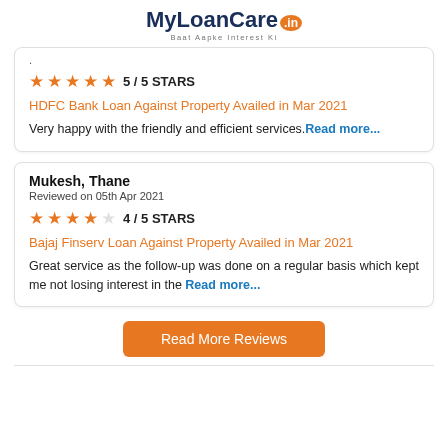[Figure (logo): MyLoanCare.in logo with tagline 'Baat Aapke Interest Ki']
5 / 5 STARS
HDFC Bank Loan Against Property Availed in Mar 2021
Very happy with the friendly and efficient services. Read more...
Mukesh, Thane
Reviewed on 05th Apr 2021
4 / 5 STARS
Bajaj Finserv Loan Against Property Availed in Mar 2021
Great service as the follow-up was done on a regular basis which kept me not losing interest in the Read more...
Read More Reviews